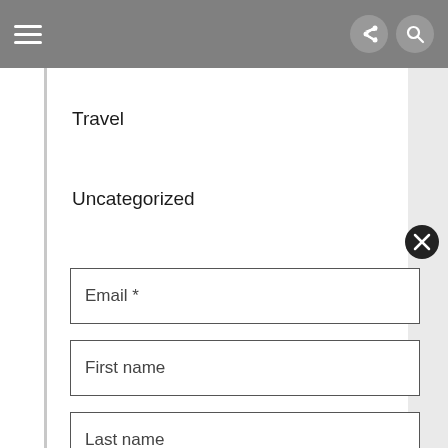Navigation header with hamburger menu and icons
Travel
Uncategorized
Vaisakhi Articles
Vaisakhi Profiles
Vaisakhi Recipes
Video
Email *
First name
Last name